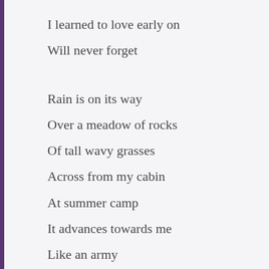I learned to love early on
Will never forget
Rain is on its way
Over a meadow of rocks
Of tall wavy grasses
Across from my cabin
At summer camp
It advances towards me
Like an army
Slow steady relentless
Then pours itself